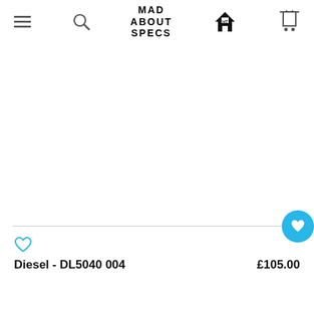MAD ABOUT SPECS
[Figure (photo): Product image area - white/blank product display area for eyewear]
Diesel - DL5040 004
£105.00